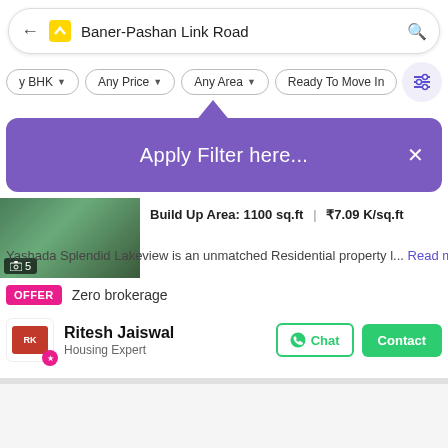Baner-Pashan Link Road
Any BHK · Any Price · Any Area · Ready To Move In
Apply Filter here...
Build Up Area: 1100 sq.ft | ₹7.09 K/sq.ft
Yashada Splendid Lakeview is an unmatched Residential property l… Read more
OFFER  Zero brokerage
Ritesh Jaiswal
Housing Expert
Chat  Contact